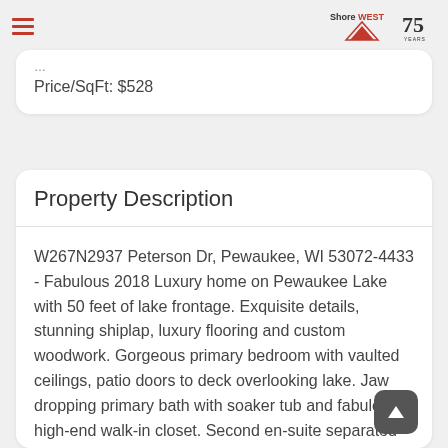ShoreWest 75 Years
Price/SqFt: $528
Property Description
W267N2937 Peterson Dr, Pewaukee, WI 53072-4433 - Fabulous 2018 Luxury home on Pewaukee Lake with 50 feet of lake frontage. Exquisite details, stunning shiplap, luxury flooring and custom woodwork. Gorgeous primary bedroom with vaulted ceilings, patio doors to deck overlooking lake. Jaw dropping primary bath with soaker tub and fabulous high-end walk-in closet. Second en-suite separated by a showstopper laundry with skylights